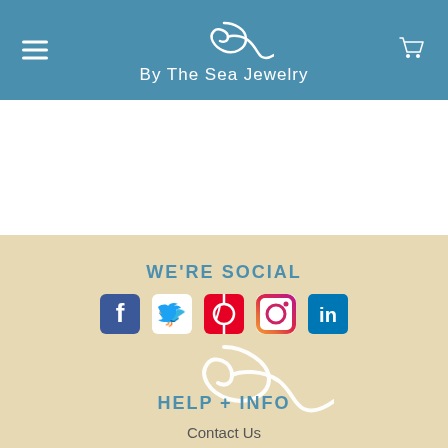By The Sea Jewelry
WE'RE SOCIAL
[Figure (illustration): Social media icons: Facebook, Twitter, Pinterest, Instagram, LinkedIn]
[Figure (logo): By The Sea Jewelry watermark logo (white spiral wave on sandy background)]
HELP + INFO
Contact Us